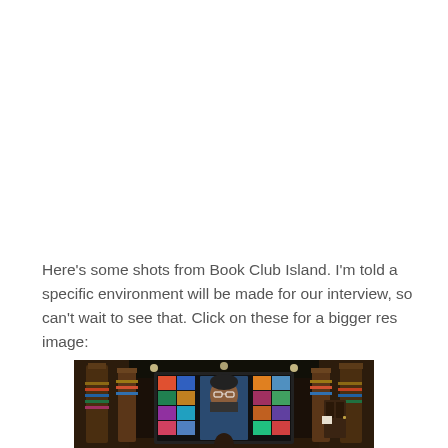Here's some shots from Book Club Island. I'm told a specific environment will be made for our interview, so can't wait to see that. Click on these for a bigger res image:
[Figure (photo): Indoor virtual environment resembling a library or book club room with tall wooden pillars, stacked books, and a large screen showing a video call with a bearded man surrounded by colorful book covers. A person is seen from behind sitting at a desk in front of the screen.]